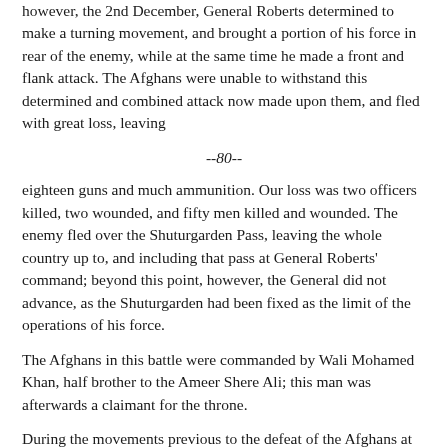however, the 2nd December, General Roberts determined to make a turning movement, and brought a portion of his force in rear of the enemy, while at the same time he made a front and flank attack. The Afghans were unable to withstand this determined and combined attack now made upon them, and fled with great loss, leaving
--80--
eighteen guns and much ammunition. Our loss was two officers killed, two wounded, and fifty men killed and wounded. The enemy fled over the Shuturgarden Pass, leaving the whole country up to, and including that pass at General Roberts' command; beyond this point, however, the General did not advance, as the Shuturgarden had been fixed as the limit of the operations of his force.
The Afghans in this battle were commanded by Wali Mohamed Khan, half brother to the Ameer Shere Ali; this man was afterwards a claimant for the throne.
During the movements previous to the defeat of the Afghans at Peiwar Kotal, General Roberts found that some of his troops of Afghan blood, belonging to the 29th Native Infantry, had been communicating with the enemy. These men were therefore tried, one of them was hanged, and the